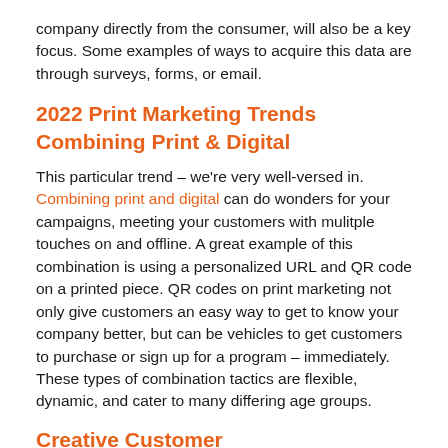company directly from the consumer, will also be a key focus. Some examples of ways to acquire this data are through surveys, forms, or email.
2022 Print Marketing Trends
Combining Print & Digital
This particular trend – we're very well-versed in. Combining print and digital can do wonders for your campaigns, meeting your customers with mulitple touches on and offline. A great example of this combination is using a personalized URL and QR code on a printed piece. QR codes on print marketing not only give customers an easy way to get to know your company better, but can be vehicles to get customers to purchase or sign up for a program – immediately. These types of combination tactics are flexible, dynamic, and cater to many differing age groups.
Creative Customer Personalization